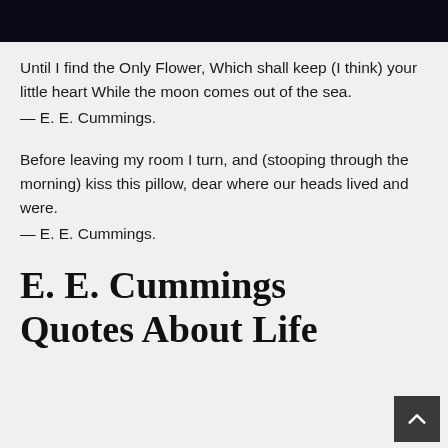[Figure (photo): Dark/black image bar at top of page]
Until I find the Only Flower, Which shall keep (I think) your little heart While the moon comes out of the sea.
— E. E. Cummings.
Before leaving my room I turn, and (stooping through the morning) kiss this pillow, dear where our heads lived and were.
— E. E. Cummings.
E. E. Cummings Quotes About Life